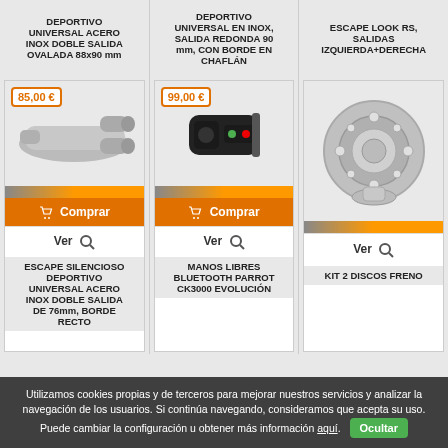ESCAPE SILENCIOSO DEPORTIVO UNIVERSAL ACERO INOX DOBLE SALIDA OVALADA 88x90 mm
DEPORTIVO UNIVERSAL EN INOX, SALIDA REDONDA 90 mm, CON BORDE EN CHAFLÁN
ESCAPE LOOK RS, SALIDAS IZQUIERDA+DERECHA
[Figure (photo): Exhaust muffler product photo with price badge 85,00 €]
[Figure (photo): Bluetooth Parrot CK3000 hands-free kit product photo with price badge 99,00 €]
[Figure (photo): Kit 2 brake discs product photo, no price shown]
ESCAPE SILENCIOSO DEPORTIVO UNIVERSAL ACERO INOX DOBLE SALIDA DE 76mm, BORDE RECTO
MANOS LIBRES BLUETOOTH PARROT CK3000 EVOLUCIÓN
KIT 2 DISCOS FRENO
Utilizamos cookies propias y de terceros para mejorar nuestros servicios y analizar la navegación de los usuarios. Si continúa navegando, consideramos que acepta su uso. Puede cambiar la configuración u obtener más información aquí. Ocultar